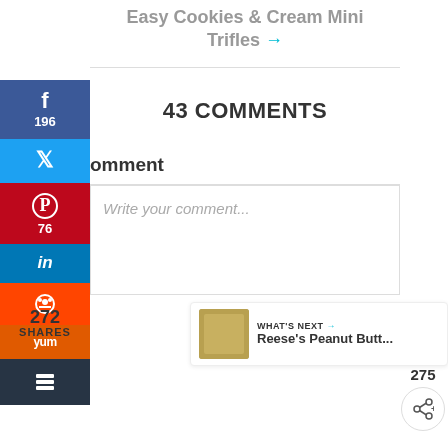Easy Cookies & Cream Mini Trifles →
43 COMMENTS
Leave a comment
Write your comment...
275
272 SHARES
WHAT'S NEXT → Reese's Peanut Butt...